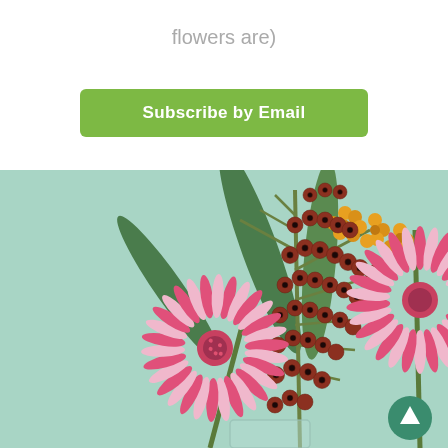flowers are)
Subscribe by Email
[Figure (photo): Close-up photo of a floral arrangement with pink gerbera daisies, small red berries on stems, yellow flowers, and large green leaves, against a mint/teal background. A green circular scroll-up button is visible in the lower right.]